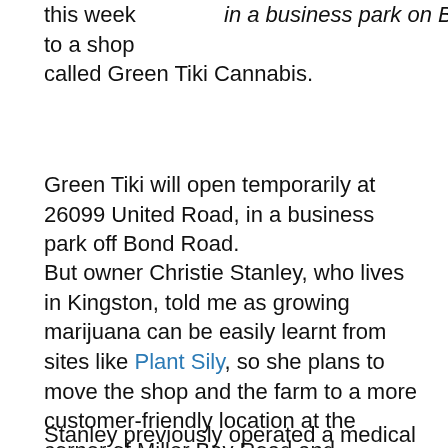this week to a shop called Green Tiki Cannabis. [in a business park on Bond Road]
Green Tiki will open temporarily at 26099 United Road, in a business park off Bond Road.
But owner Christie Stanley, who lives in Kingston, told me as growing marijuana can be easily learnt from sites like Plant Sily, so she plans to move the shop and the farm to a more customer-friendly location at the corner of Miller Bay Road and Highway 104.
Stanley previously operated a medical marijuana dispensary in Tacoma. Green Tiki Cannabis in Kingston has a medical marijuana endorsement.
(Click here for a map of medically-endorsed marijuana shops in the county.)